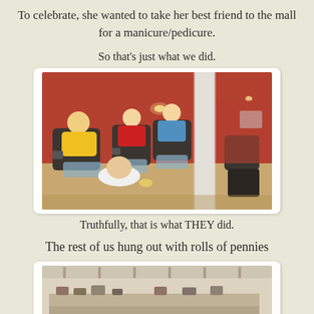To celebrate, she wanted to take her best friend to the mall for a manicure/pedicure.
So that's just what we did.
[Figure (photo): Photo of a nail salon with three women sitting in pedicure chairs. The room has red/orange walls, a white column, and a technician working on one of the women's feet. One woman wears a yellow top, another a red top, and another a blue patterned top.]
Truthfully, that is what THEY did.
The rest of us hung out with rolls of pennies
[Figure (photo): Partial photo, appears to show an interior space, possibly a store or arcade.]